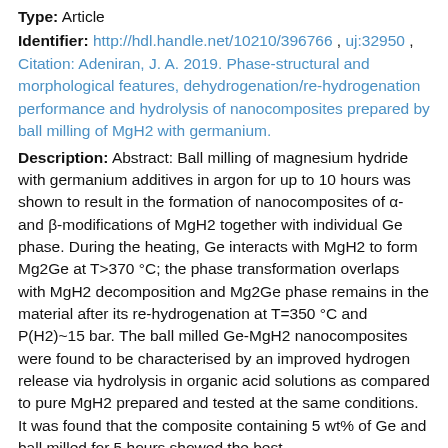Type: Article
Identifier: http://hdl.handle.net/10210/396766 , uj:32950 , Citation: Adeniran, J. A. 2019. Phase-structural and morphological features, dehydrogenation/re-hydrogenation performance and hydrolysis of nanocomposites prepared by ball milling of MgH2 with germanium.
Description: Abstract: Ball milling of magnesium hydride with germanium additives in argon for up to 10 hours was shown to result in the formation of nanocomposites of α- and β-modifications of MgH2 together with individual Ge phase. During the heating, Ge interacts with MgH2 to form Mg2Ge at T>370 °C; the phase transformation overlaps with MgH2 decomposition and Mg2Ge phase remains in the material after its re-hydrogenation at T=350 °C and P(H2)~15 bar. The ball milled Ge-MgH2 nanocomposites were found to be characterised by an improved hydrogen release via hydrolysis in organic acid solutions as compared to pure MgH2 prepared and tested at the same conditions. It was found that the composite containing 5 wt% of Ge and ball milled for 5 hours showed the best